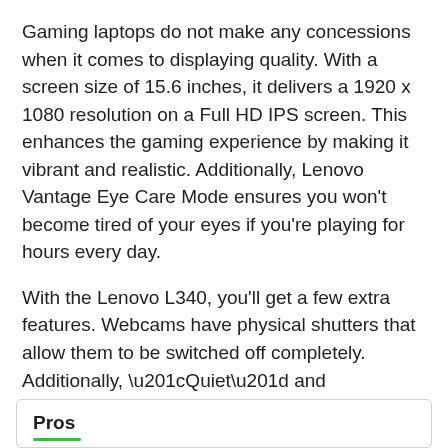Gaming laptops do not make any concessions when it comes to displaying quality. With a screen size of 15.6 inches, it delivers a 1920 x 1080 resolution on a Full HD IPS screen. This enhances the gaming experience by making it vibrant and realistic. Additionally, Lenovo Vantage Eye Care Mode ensures you won't become tired of your eyes if you're playing for hours every day.
With the Lenovo L340, you'll get a few extra features. Webcams have physical shutters that allow them to be switched off completely. Additionally, “Quiet” and “Quick” modes are available. Games can be played on one and work on the other. Dolby AudioTM takes gaming to the next level, thanks to its advanced sound system. When you consider everything, the Lenovo L340 is an excellent all-rounder with a price of just over $600!
Pros